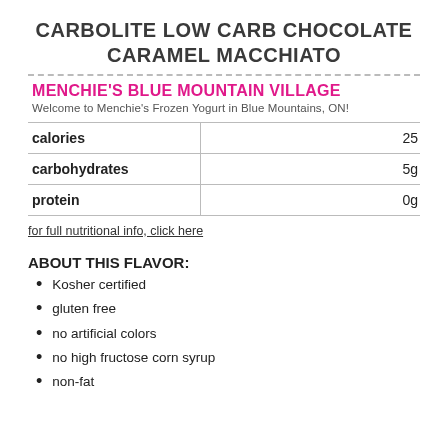CARBOLITE LOW CARB CHOCOLATE CARAMEL MACCHIATO
MENCHIE'S BLUE MOUNTAIN VILLAGE
Welcome to Menchie's Frozen Yogurt in Blue Mountains, ON!
|  |  |
| --- | --- |
| calories | 25 |
| carbohydrates | 5g |
| protein | 0g |
for full nutritional info, click here
ABOUT THIS FLAVOR:
Kosher certified
gluten free
no artificial colors
no high fructose corn syrup
non-fat